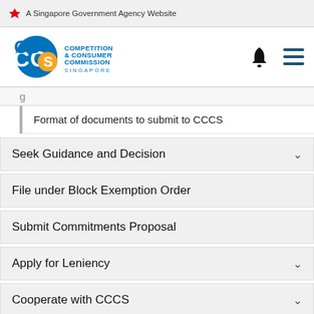A Singapore Government Agency Website
[Figure (logo): CCCS - Competition & Consumer Commission Singapore logo]
Format of documents to submit to CCCS
Seek Guidance and Decision
File under Block Exemption Order
Submit Commitments Proposal
Apply for Leniency
Cooperate with CCCS
Qualifying Foreign Law Practices